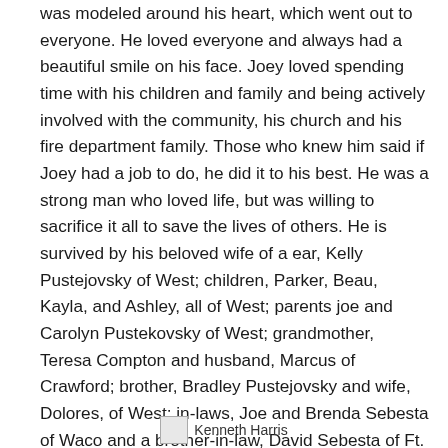was modeled around his heart, which went out to everyone. He loved everyone and always had a beautiful smile on his face. Joey loved spending time with his children and family and being actively involved with the community, his church and his fire department family. Those who knew him said if Joey had a job to do, he did it to his best. He was a strong man who loved life, but was willing to sacrifice it all to save the lives of others. He is survived by his beloved wife of a ear, Kelly Pustejovsky of West; children, Parker, Beau, Kayla, and Ashley, all of West; parents joe and Carolyn Pustekovsky of West; grandmother, Teresa Compton and husband, Marcus of Crawford; brother, Bradley Pustejovsky and wife, Dolores, of West; in-laws, Joe and Brenda Sebesta of Waco and a brother-in-law, David Sebesta of Ft. Worth; and many aunts, uncles, other relatives and friends.
Kenneth Harris